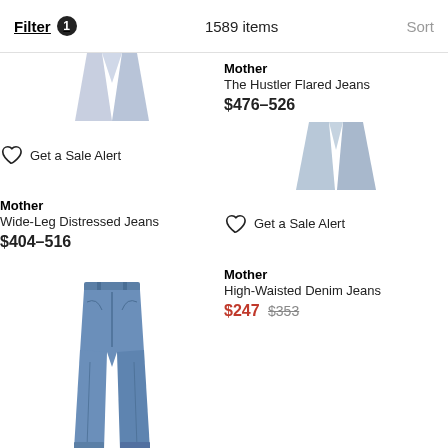Filter 1  1589 items  Sort
[Figure (photo): Cropped view of Mother The Hustler Flared Jeans in blue/white]
Mother
The Hustler Flared Jeans
$476–526
Get a Sale Alert
[Figure (photo): Cropped view of Mother Wide-Leg Distressed Jeans in light blue]
Mother
Wide-Leg Distressed Jeans
$404–516
Get a Sale Alert
[Figure (photo): Mother High-Waisted Denim Jeans in medium blue wash, full view]
Mother
High-Waisted Denim Jeans
$247 $353
Get a Sale Alert
[Figure (photo): Mother Cropped Skinny-Cut Jeans in white, full view]
Mother
Cropped Skinny-Cut Jeans
$325
Get a Sale Alert